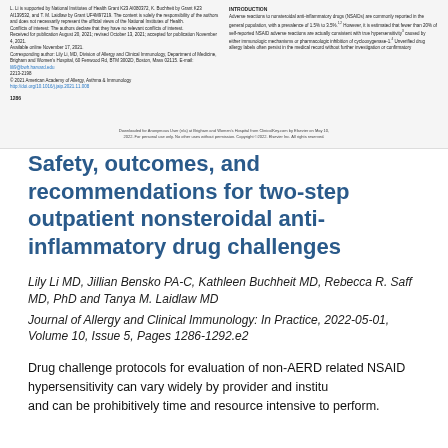L. Li is supported by National Institutes of Health Grant K23 AI080372, K. Buchheit by Grant K23 AI139532, and T. M. Laidlaw by Grant UF4M97219. The content is solely the responsibility of the authors and does not necessarily represent the official views of the National Institutes of Health. Conflicts of interest: The authors declare that they have no relevant conflicts of interest. Received for publication August 20, 2021; revised October 13, 2021; accepted for publication November 4, 2021. Available online November 17, 2021. Corresponding author: Lily Li, MD, Division of Allergy and Clinical Immunology, Department of Medicine, Brigham and Women's Hospital, 60 Fenwood Rd, BTM 3002D, Boston, Mass 02115. E-mail: lili9@bwh.harvard.edu 2213-2198 © 2021 American Academy of Allergy, Asthma & Immunology http://doi.org/10.1016/j.jaip.2021.11.008
INTRODUCTION
Adverse reactions to nonsteroidal anti-inflammatory drugs (NSAIDs) are commonly reported in the general population, with a prevalence of 1.5% to 3.5%. However, it is estimated that fewer than 20% of self-reported NSAID adverse reactions are actually consistent with true hypersensitivity caused by either immunologic mechanisms or pharmacologic inhibition of cyclooxygenase-1. Unverified drug allergy labels often persist in the medical record without further investigation or confirmatory
1286
Downloaded for Anonymous User (n/a) at Brigham and Women's Hospital from ClinicalKey.com by Elsevier on May 10, 2022. For personal use only. No other uses without permission. Copyright ©2022. Elsevier Inc. All rights reserved.
Safety, outcomes, and recommendations for two-step outpatient nonsteroidal anti-inflammatory drug challenges
Lily Li MD, Jillian Bensko PA-C, Kathleen Buchheit MD, Rebecca R. Saff MD, PhD and Tanya M. Laidlaw MD
Journal of Allergy and Clinical Immunology: In Practice, 2022-05-01, Volume 10, Issue 5, Pages 1286-1292.e2
Drug challenge protocols for evaluation of non-AERD related NSAID hypersensitivity can vary widely by provider and institution, and can be prohibitively time and resource intensive to perform.